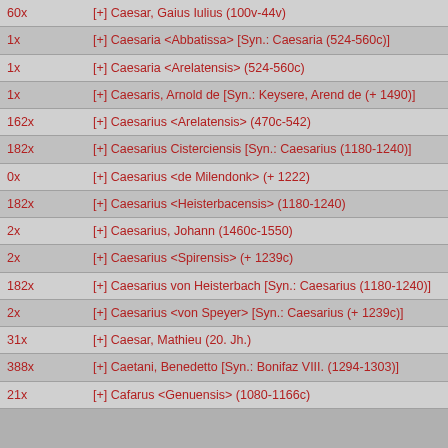| 60x | [+] Caesar, Gaius Iulius (100v-44v) |
| 1x | [+] Caesaria <Abbatissa> [Syn.: Caesaria (524-560c)] |
| 1x | [+] Caesaria <Arelatensis> (524-560c) |
| 1x | [+] Caesaris, Arnold de [Syn.: Keysere, Arend de (+ 1490)] |
| 162x | [+] Caesarius <Arelatensis> (470c-542) |
| 182x | [+] Caesarius Cisterciensis [Syn.: Caesarius (1180-1240)] |
| 0x | [+] Caesarius <de Milendonk> (+ 1222) |
| 182x | [+] Caesarius <Heisterbacensis> (1180-1240) |
| 2x | [+] Caesarius, Johann (1460c-1550) |
| 2x | [+] Caesarius <Spirensis> (+ 1239c) |
| 182x | [+] Caesarius von Heisterbach [Syn.: Caesarius (1180-1240)] |
| 2x | [+] Caesarius <von Speyer> [Syn.: Caesarius (+ 1239c)] |
| 31x | [+] Caesar, Mathieu (20. Jh.) |
| 388x | [+] Caetani, Benedetto [Syn.: Bonifaz VIII. (1294-1303)] |
| 21x | [+] Cafarus <Genuensis> (1080-1166c) |